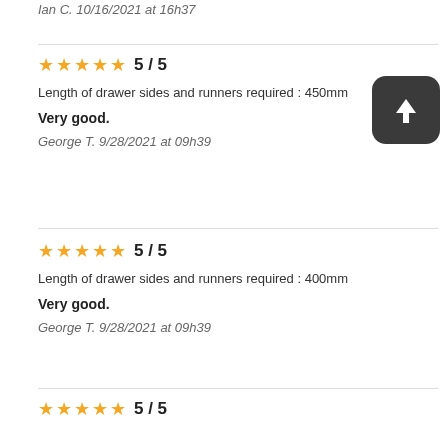Ian C. 10/16/2021 at 16h37
★★★★★ 5 / 5
Length of drawer sides and runners required : 450mm
Very good.
George T. 9/28/2021 at 09h39
★★★★★ 5 / 5
Length of drawer sides and runners required : 400mm
Very good.
George T. 9/28/2021 at 09h39
★★★★★ 5 / 5